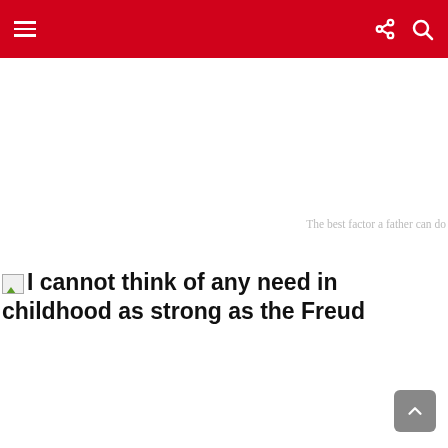Navigation bar with hamburger menu, share icon, and search icon
The best factor a father can do
I cannot think of any need in childhood as strong as the... Freud